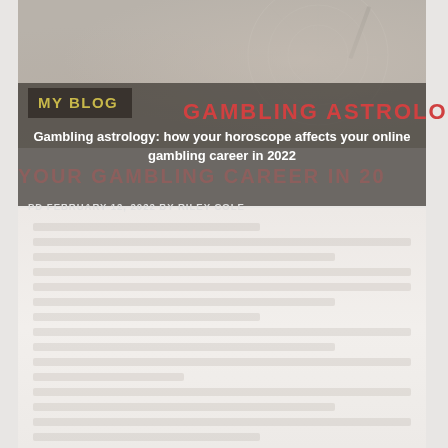[Figure (photo): Background image of an astrological chart or compass overlaid with a dark semi-transparent banner containing blog post header text]
MY BLOG
GAMBLING ASTROLOGY
Gambling astrology: how your horoscope affects your online gambling career in 2022
PD FEBRUARY 12, 2022 BY RILEY COLE